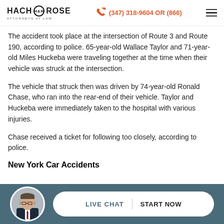HACH ROSE Attorneys at Law | (347) 318-9604 OR (866)
The accident took place at the intersection of Route 3 and Route 190, according to police. 65-year-old Wallace Taylor and 71-year-old Miles Huckeba were traveling together at the time when their vehicle was struck at the intersection.
The vehicle that struck then was driven by 74-year-old Ronald Chase, who ran into the rear-end of their vehicle. Taylor and Huckeba were immediately taken to the hospital with various injuries.
Chase received a ticket for following too closely, according to police.
New York Car Accidents
[Figure (other): Live chat footer bar with attorney avatar photo and LIVE CHAT | START NOW button on dark teal background]